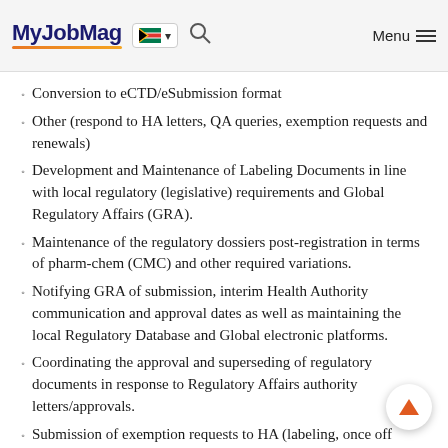MyJobMag [South Africa flag] Menu
Conversion to eCTD/eSubmission format
Other (respond to HA letters, QA queries, exemption requests and renewals)
Development and Maintenance of Labeling Documents in line with local regulatory (legislative) requirements and Global Regulatory Affairs (GRA).
Maintenance of the regulatory dossiers post-registration in terms of pharm-chem (CMC) and other required variations.
Notifying GRA of submission, interim Health Authority communication and approval dates as well as maintaining the local Regulatory Database and Global electronic platforms.
Coordinating the approval and superseding of regulatory documents in response to Regulatory Affairs authority letters/approvals.
Submission of exemption requests to HA (labeling, once off